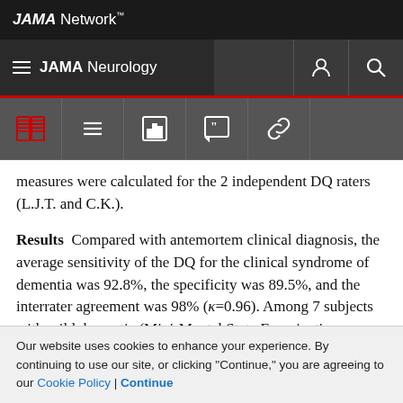JAMA Network™
JAMA Neurology
measures were calculated for the 2 independent DQ raters (L.J.T. and C.K.).
Results  Compared with antemortem clinical diagnosis, the average sensitivity of the DQ for the clinical syndrome of dementia was 92.8%, the specificity was 89.5%, and the interrater agreement was 98% (κ=0.96). Among 7 subjects with mild dementia (Mini-Mental State Examination score ≥24 at the last clinical examination), 5
Our website uses cookies to enhance your experience. By continuing to use our site, or clicking "Continue," you are agreeing to our Cookie Policy | Continue